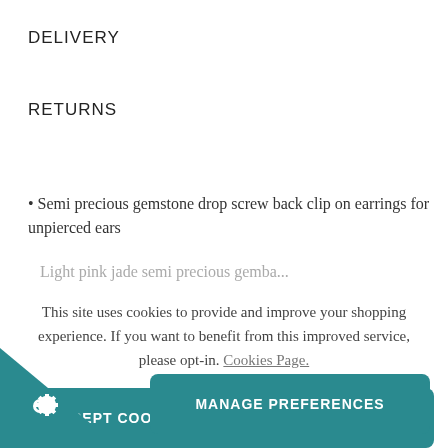DELIVERY
RETURNS
Semi precious gemstone drop screw back clip on earrings for unpierced ears
Light pink jade semi precious gemba...
This site uses cookies to provide and improve your shopping experience. If you want to benefit from this improved service, please opt-in. Cookies Page.
ACCEPT COOKIES
REJECT ALL COOKIES
MANAGE PREFERENCES